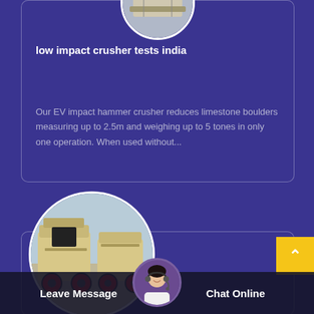[Figure (photo): Circular thumbnail of an impact crusher machine, shown at top of upper card]
low impact crusher tests india
Our EV impact hammer crusher reduces limestone boulders measuring up to 2.5m and weighing up to 5 tones in only one operation. When used without...
[Figure (photo): Circular image of yellow/beige impact crusher machines with red wheels, shown overlapping the bottom card]
Leave Message
[Figure (photo): Circular avatar of a smiling woman wearing a headset, in the bottom bar]
Chat Online